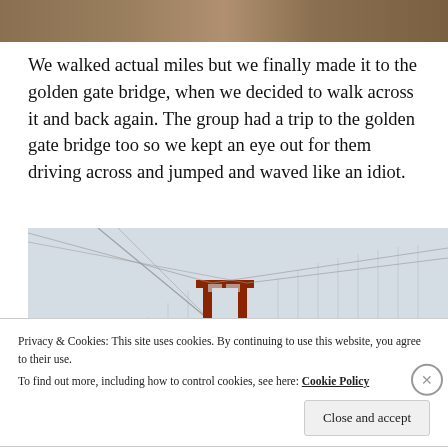[Figure (photo): Top portion of a photo, showing a brown/sandy ground or pathway]
We walked actual miles but we finally made it to the golden gate bridge, when we decided to walk across it and back again. The group had a trip to the golden gate bridge too so we kept an eye out for them driving across and jumped and waved like an idiot.
[Figure (photo): Photo of the Golden Gate Bridge tower against a pale grey-blue foggy sky, with cable lines extending from the tower]
Privacy & Cookies: This site uses cookies. By continuing to use this website, you agree to their use.
To find out more, including how to control cookies, see here: Cookie Policy
Close and accept